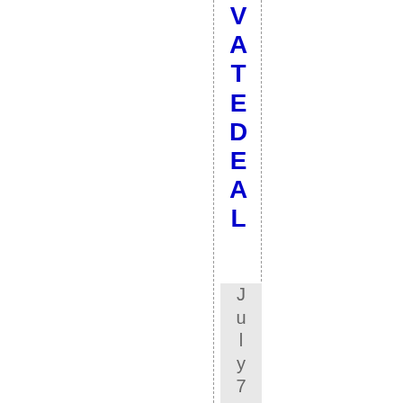VATEDELTA
July 7th, 2014 | Category